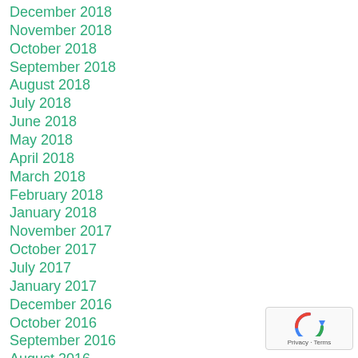December 2018
November 2018
October 2018
September 2018
August 2018
July 2018
June 2018
May 2018
April 2018
March 2018
February 2018
January 2018
November 2017
October 2017
July 2017
January 2017
December 2016
October 2016
September 2016
August 2016
July 2016
[Figure (logo): reCAPTCHA badge with Privacy and Terms links]